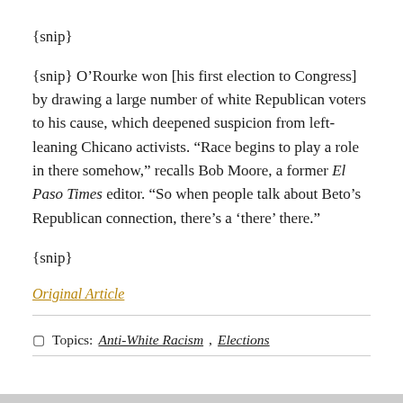{snip}
{snip} O’Rourke won [his first election to Congress] by drawing a large number of white Republican voters to his cause, which deepened suspicion from left-leaning Chicano activists. “Race begins to play a role in there somehow,” recalls Bob Moore, a former El Paso Times editor. “So when people talk about Beto’s Republican connection, there’s a ‘there’ there.”
{snip}
Original Article
Topics: Anti-White Racism, Elections